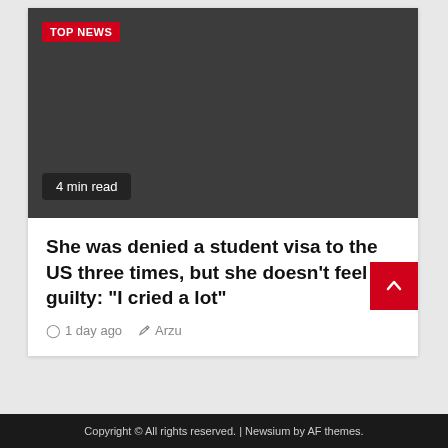[Figure (photo): Dark gray image placeholder with TOP NEWS red badge in top-left and '4 min read' label in bottom-left]
She was denied a student visa to the US three times, but she doesn't feel guilty: “I cried a lot”
1 day ago   Arzu
Copyright © All rights reserved. | Newsium by AF themes.